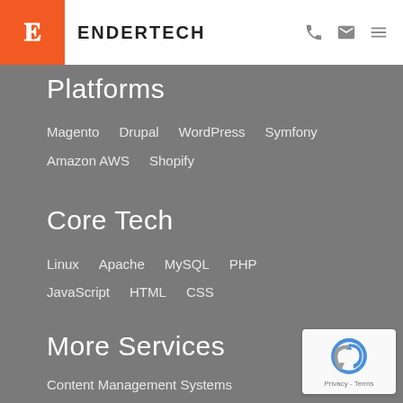ENDERTECH
Platforms
Magento   Drupal   WordPress   Symfony
Amazon AWS   Shopify
Core Tech
Linux   Apache   MySQL   PHP
JavaScript   HTML   CSS
More Services
Content Management Systems
Social Networks   Maintenance & Support
Web Application  Marketing...